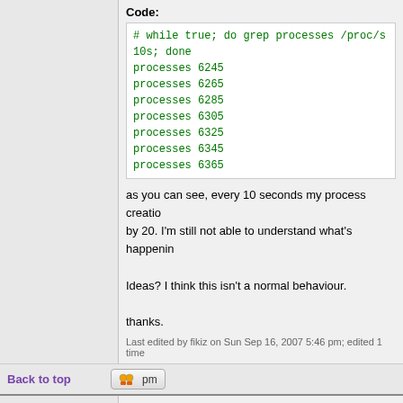[Figure (screenshot): Code block showing terminal output of a while loop running grep on /proc, with process counts increasing by 20 every 10 seconds: 6245, 6265, 6285, 6305, 6325, 6345, 6365]
as you can see, every 10 seconds my process creation goes up by 20. I'm still not able to understand what's happening
Ideas? I think this isn't a normal behaviour.
thanks.
Last edited by fikiz on Sun Sep 16, 2007 5:46 pm; edited 1 time
Back to top
bunder
Bodhisattva

Joined: 10 Apr 2004
Posts: 5923
Posted: Sun Sep 16, 2007 9:33 am    Post subject:
can we see a ps aux? do you see any new threads be there that probably shouldn't be?
cheers